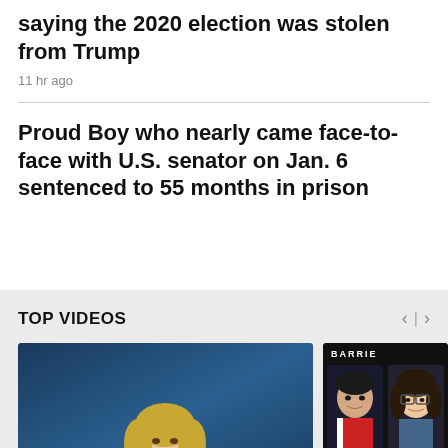saying the 2020 election was stolen from Trump
11 hr ago
Proud Boy who nearly came face-to-face with U.S. senator on Jan. 6 sentenced to 55 months in prison
TOP VIDEOS
[Figure (photo): TV news anchor, a blonde woman in white blazer, seated at desk with blue background studio setting. Play button overlay in bottom right.]
[Figure (photo): Barrie segment thumbnail showing two young people (man and woman) with name labels 'LUKE WEST' and 'HALEY MARK' on dark background.]